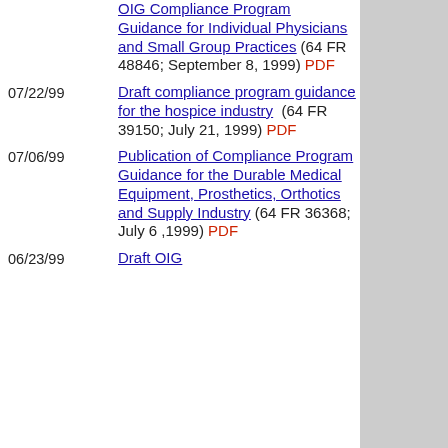OIG Compliance Program Guidance for Individual Physicians and Small Group Practices (64 FR 48846; September 8, 1999) PDF
07/22/99 Draft compliance program guidance for the hospice industry (64 FR 39150; July 21, 1999) PDF
07/06/99 Publication of Compliance Program Guidance for the Durable Medical Equipment, Prosthetics, Orthotics and Supply Industry (64 FR 36368; July 6 ,1999) PDF
06/23/99 Draft OIG